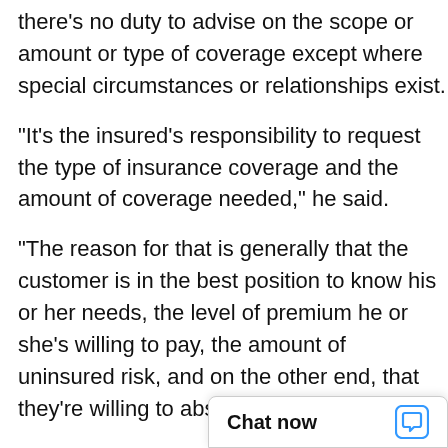there's no duty to advise on the scope or amount or type of coverage except where special circumstances or relationships exist.
"It's the insured's responsibility to request the type of insurance coverage and the amount of coverage needed," he said.
"The reason for that is generally that the customer is in the best position to know his or her needs, the level of premium he or she's willing to pay, the amount of uninsured risk, and on the other end, that they're willing to absorb," Biging explained.
"If you require the agent or broker to recommend types or amount of coverage, in all circumstances, that leads to Pandor[a's box of] problems."